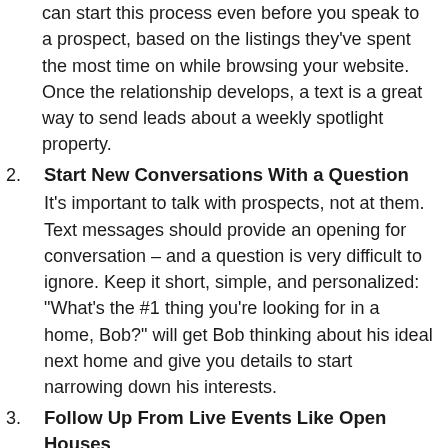can start this process even before you speak to a prospect, based on the listings they've spent the most time on while browsing your website. Once the relationship develops, a text is a great way to send leads about a weekly spotlight property.
Start New Conversations With a Question It's important to talk with prospects, not at them. Text messages should provide an opening for conversation – and a question is very difficult to ignore. Keep it short, simple, and personalized: "What's the #1 thing you're looking for in a home, Bob?" will get Bob thinking about his ideal next home and give you details to start narrowing down his interests.
Follow Up From Live Events Like Open Houses Open house attendees are active leads, but they can still take months to make a decision. Follow up with your event attendees by text – right